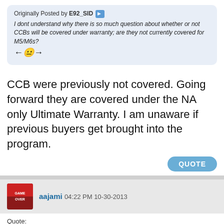Originally Posted by E92_SID
I dont understand why there is so much question about whether or not CCBs will be covered under warranty; are they not currently covered for M5/M6s? 😕
CCB were previously not covered. Going forward they are covered under the NA only Ultimate Warranty. I am unaware if previous buyers get brought into the program.
QUOTE
aajami 04:22 PM 10-30-2013
Quote:
Originally Posted by richardg
CCB were previously not covered. Going forward they are covered under the NA only Ultimate Warranty. I am unaware if previous buyers get brought into the program.